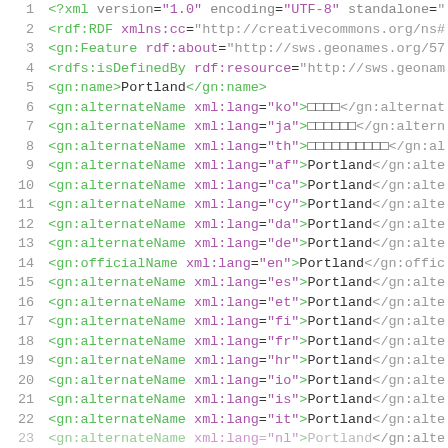Code listing: XML/RDF data for GeoNames Portland entry, lines 1-22+
1  <?xml version="1.0" encoding="UTF-8" standalone="
2  <rdf:RDF xmlns:cc="http://creativecommons.org/ns#
3  <gn:Feature rdf:about="http://sws.geonames.org/57
4  <rdfs:isDefinedBy rdf:resource="http://sws.geonam
5  <gn:name>Portland</gn:name>
6  <gn:alternateName xml:lang="ko">□□□□</gn:alternat
7  <gn:alternateName xml:lang="ja">□□□□□□</gn:altern
8  <gn:alternateName xml:lang="th">□□□□□□□□□□</gn:al
9  <gn:alternateName xml:lang="af">Portland</gn:alte
10 <gn:alternateName xml:lang="ca">Portland</gn:alte
11 <gn:alternateName xml:lang="cy">Portland</gn:alte
12 <gn:alternateName xml:lang="da">Portland</gn:alte
13 <gn:alternateName xml:lang="de">Portland</gn:alte
14 <gn:officialName xml:lang="en">Portland</gn:offic
15 <gn:alternateName xml:lang="es">Portland</gn:alte
16 <gn:alternateName xml:lang="et">Portland</gn:alte
17 <gn:alternateName xml:lang="fi">Portland</gn:alte
18 <gn:alternateName xml:lang="fr">Portland</gn:alte
19 <gn:alternateName xml:lang="hr">Portland</gn:alte
20 <gn:alternateName xml:lang="io">Portland</gn:alte
21 <gn:alternateName xml:lang="is">Portland</gn:alte
22 <gn:alternateName xml:lang="it">Portland</gn:alte
23 <gn:alternateName xml:lang="nl">Portland</gn:alte (partial)